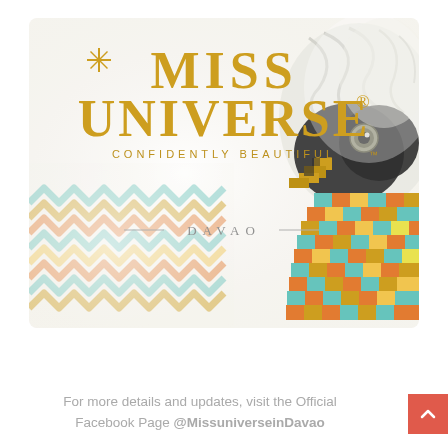[Figure (logo): Miss Universe Davao logo card featuring gold 'MISS UNIVERSE® CONFIDENTLY BEAUTIFUL™' text with a decorative star/sparkle, colorful pixel-art Philippine Eagle illustration on the right, geometric chevron pattern on lower left, and 'DAVAO' text centered with decorative lines]
For more details and updates, visit the Official Facebook Page @MissuniverseinDavao